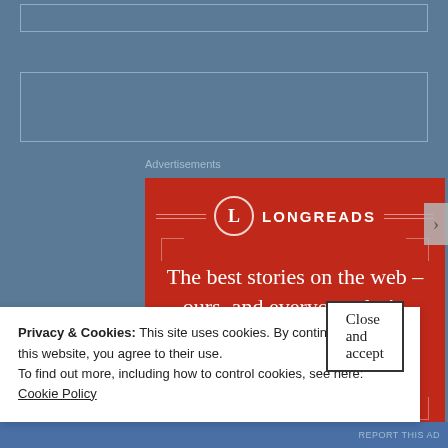[Figure (screenshot): Empty bordered box at top of page on blue-grey background]
[Figure (screenshot): Second empty bordered box below the first]
Advertisements
[Figure (illustration): Longreads advertisement on red background. Shows Longreads logo (circled L) and name, with text: 'The best stories on the web – ours, and everyone else's.' and a 'Start reading' button.]
Privacy & Cookies: This site uses cookies. By continuing to use this website, you agree to their use.
To find out more, including how to control cookies, see here:
Cookie Policy
Close and accept